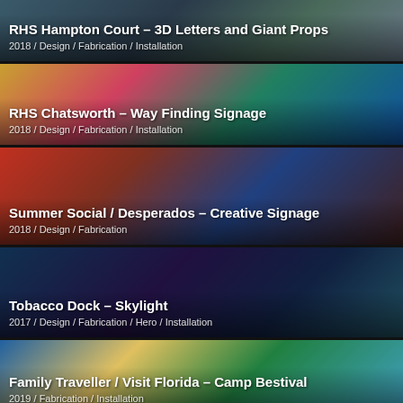[Figure (photo): RHS Hampton Court 3D Letters and Giant Props project photo]
RHS Hampton Court – 3D Letters and Giant Props
2018 / Design / Fabrication / Installation
[Figure (photo): RHS Chatsworth Way Finding Signage project photo with colorful signs]
RHS Chatsworth – Way Finding Signage
2018 / Design / Fabrication / Installation
[Figure (photo): Summer Social Desperados Creative Signage project photo with 3D letters]
Summer Social / Desperados – Creative Signage
2018 / Design / Fabrication
[Figure (photo): Tobacco Dock Skylight project photo with colorful lights]
Tobacco Dock – Skylight
2017 / Design / Fabrication / Hero / Installation
[Figure (photo): Family Traveller Visit Florida Camp Bestival project photo]
Family Traveller / Visit Florida – Camp Bestival
2019 / Fabrication / Installation